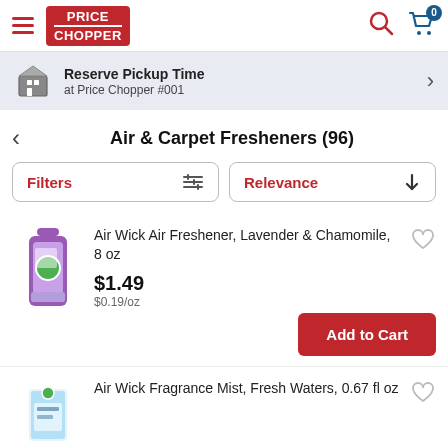Price Chopper header with search and cart (0 items)
Reserve Pickup Time at Price Chopper #001
Air & Carpet Fresheners (96)
Filters | Relevance
Air Wick Air Freshener, Lavender & Chamomile, 8 oz — $1.49, $0.19/oz
Air Wick Fragrance Mist, Fresh Waters, 0.67 fl oz